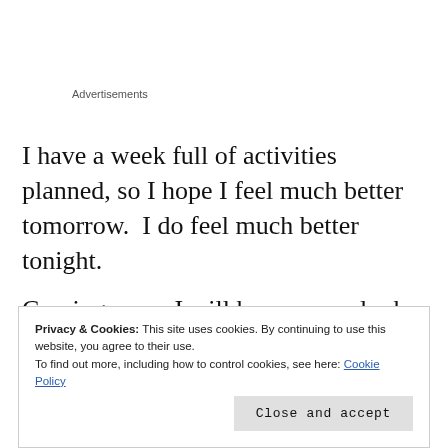Advertisements
I have a week full of activities planned, so I hope I feel much better tomorrow.  I do feel much better tonight.
Coming soon, I will have a new look.  Now that I have been feeling like I can get out.  I’m getting my hair
Privacy & Cookies: This site uses cookies. By continuing to use this website, you agree to their use.
To find out more, including how to control cookies, see here: Cookie Policy
Close and accept